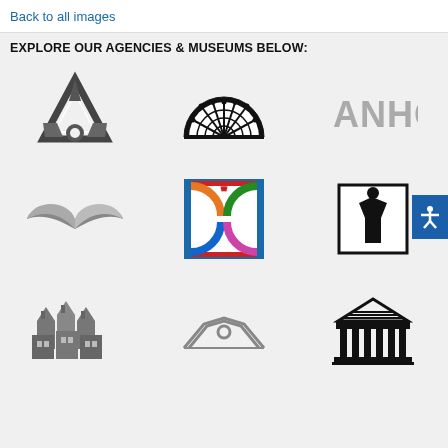Back to all images
EXPLORE OUR AGENCIES & MUSEUMS BELOW:
[Figure (logo): Triangular arrow logo — gray/black geometric triangle with circular element]
[Figure (logo): Semicircular rose window / cathedral dome logo — black line art]
[Figure (logo): ANHC text logo in gray block letters]
[Figure (logo): Stylized flying wings logo in gray]
[Figure (logo): Colorful square logo with interlocking arcs in blue, orange, green, red on white]
[Figure (logo): Black and white rectangular logo with silhouette figure]
[Figure (logo): Gray building/village icon with rooftops]
[Figure (logo): Gray arched bridge or dome outline logo]
[Figure (logo): Black Greek temple / columns logo]